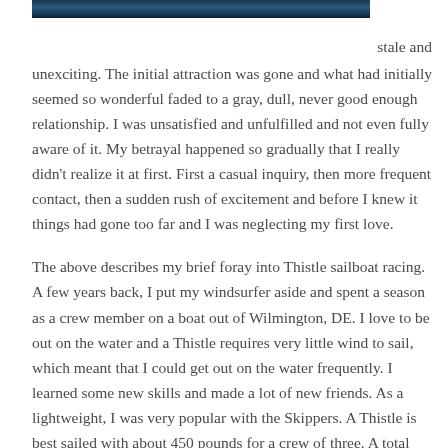[Figure (photo): Partial view of water/ocean scene, dark blue tones, cropped at top of page]
stale and unexciting.  The initial attraction was gone and what had initially seemed so wonderful faded to a gray, dull, never good enough relationship.  I was unsatisfied and unfulfilled and not even fully aware of it.   My betrayal happened so gradually that I really didn't realize it at first.  First a casual inquiry, then more frequent contact, then a sudden rush of excitement and before I knew it things had gone too far and I was neglecting my first love.

The above describes my brief foray into Thistle sailboat racing.  A few years back, I put my windsurfer aside and spent a season as a crew member on a boat out of Wilmington, DE. I love to be out on the water and a Thistle requires very little wind to sail, which meant that I could get out on the water frequently. I learned some new skills and made a lot of new friends.  As a lightweight, I was very popular with the Skippers.  A Thistle is best sailed with about 450 pounds for a crew of three.  A total